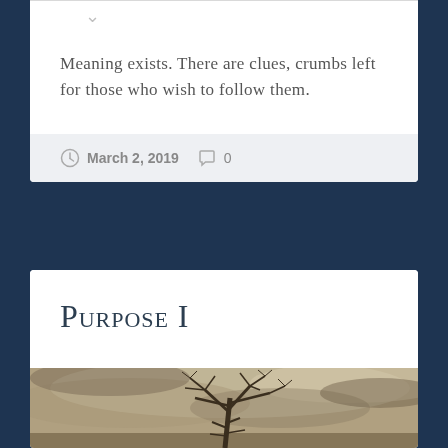Meaning exists. There are clues, crumbs left for those who wish to follow them.
March 2, 2019  0
Purpose I
[Figure (photo): Atmospheric painting of bare leafless trees with dark branches against a moody cloudy sky, warm sepia and grey tones, landscape scene]